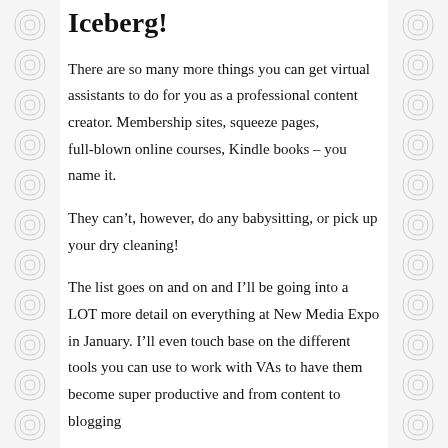Iceberg!
There are so many more things you can get virtual assistants to do for you as a professional content creator. Membership sites, squeeze pages, full-blown online courses, Kindle books – you name it.
They can't, however, do any babysitting, or pick up your dry cleaning!
The list goes on and on and I'll be going into a LOT more detail on everything at New Media Expo in January. I'll even touch base on the different tools you can use to work with VAs to have them become super productive and from content to blogging